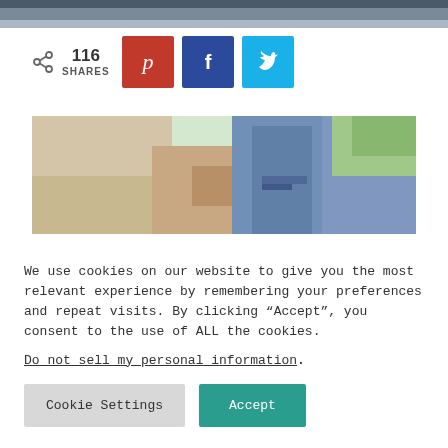[Figure (photo): Top strip of a dark road/outdoor photo, cropped]
[Figure (infographic): Social share bar showing 116 shares with Pinterest (red), Facebook (blue), and Twitter (cyan) buttons]
[Figure (photo): Photo of people holding hands outdoors, showing arms and torsos in casual clothing]
We use cookies on our website to give you the most relevant experience by remembering your preferences and repeat visits. By clicking “Accept”, you consent to the use of ALL the cookies.
Do not sell my personal information.
Cookie Settings   Accept